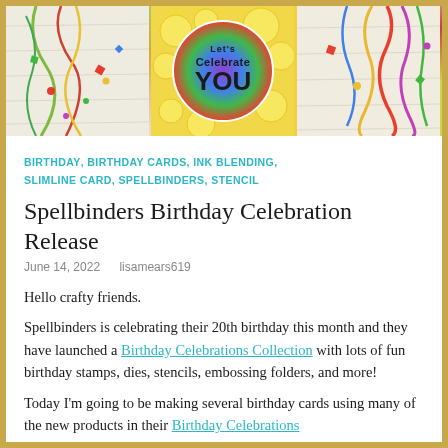[Figure (photo): Three-panel photo strip showing birthday card crafting. Left: colorful streamers and confetti on a white surface. Center: a round colorful card reading 'Let's Celebrate YOU' on yellow background with circle die cuts. Right: colorful ribbon streamers on a white wood surface.]
BIRTHDAY, BIRTHDAY CARDS, INK BLENDING, SLIMLINE CARD, SPELLBINDERS, STENCIL
Spellbinders Birthday Celebration Release
June 14, 2022   lisamears619
Hello crafty friends.
Spellbinders is celebrating their 20th birthday this month and they have launched a Birthday Celebrations Collection with lots of fun birthday stamps, dies, stencils, embossing folders, and more!
Today I'm going to be making several birthday cards using many of the new products in their Birthday Celebrations